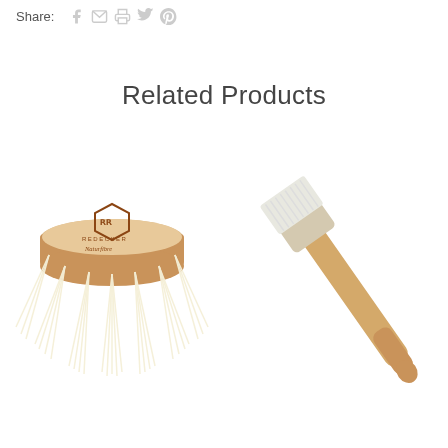Share:
Related Products
[Figure (photo): Round wooden dish brush head with cream/white natural bristles and Redecker Naturfibre logo branded on the wooden top]
[Figure (photo): Wooden handled brush with white bristles, shown at an angle, partially cropped on the right side of the image]